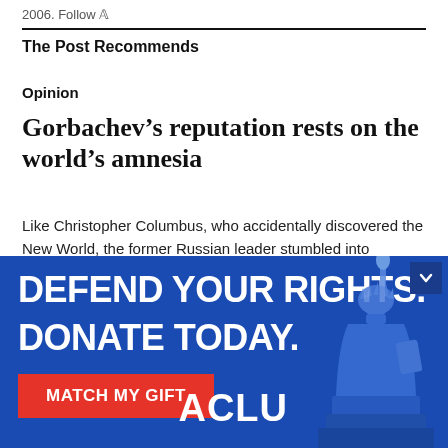2006. Follow
The Post Recommends
Opinion
Gorbachev’s reputation rests on the world’s amnesia
Like Christopher Columbus, who accidentally discovered the New World, the former Russian leader stumbled into greatness by misunderstanding where he was going.
[Figure (infographic): ACLU advertisement banner: blue background with Statue of Liberty image. White bold text reading 'DEFEND YOUR RIGHTS. DONATE TODAY.' with a red button labeled 'MATCH MY GIFT' and ACLU logo.]